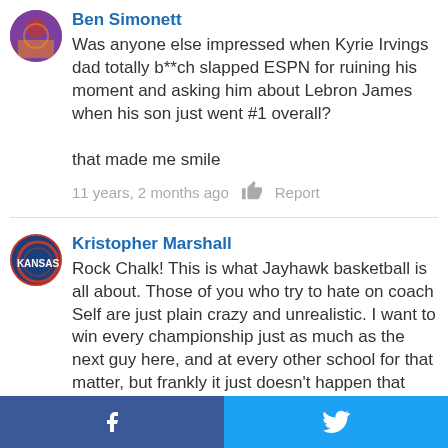Ben Simonett
Was anyone else impressed when Kyrie Irvings dad totally b**ch slapped ESPN for ruining his moment and asking him about Lebron James when his son just went #1 overall?

that made me smile
11 years, 2 months ago  Report
Kristopher Marshall
Rock Chalk! This is what Jayhawk basketball is all about. Those of you who try to hate on coach Self are just plain crazy and unrealistic. I want to win every championship just as much as the next guy here, and at every other school for that matter, but frankly it just doesn't happen that way. That's why sports are magical. The ability root for the things that are truly life